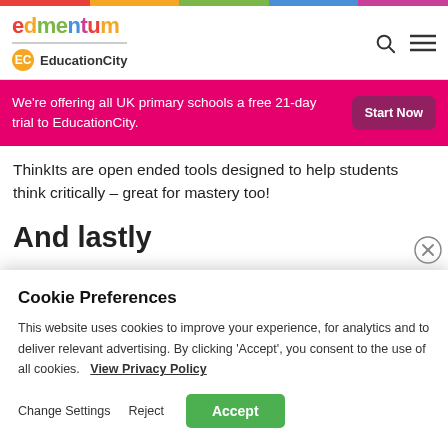[Figure (logo): Edmentum logo with multicolor letters and EducationCity sub-brand with orange icon]
We're offering all UK primary schools a free 21-day trial to EducationCity.
ThinkIts are open ended tools designed to help students think critically – great for mastery too!
And lastly
Cookie Preferences
This website uses cookies to improve your experience, for analytics and to deliver relevant advertising. By clicking 'Accept', you consent to the use of all cookies.   View Privacy Policy
Change Settings   Reject   Accept